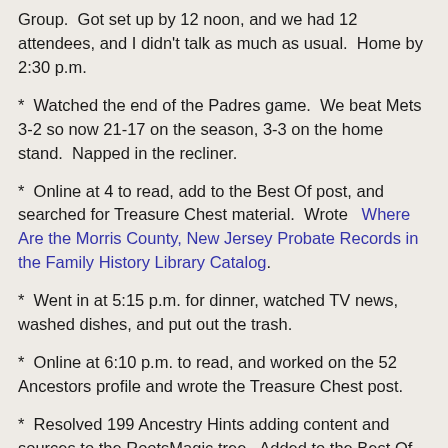Group.  Got set up by 12 noon, and we had 12 attendees, and I didn't talk as much as usual.  Home by 2:30 p.m.
*  Watched the end of the Padres game.  We beat Mets 3-2 so now 21-17 on the season, 3-3 on the home stand.  Napped in the recliner.
*  Online at 4 to read, add to the Best Of post, and searched for Treasure Chest material.  Wrote   Where Are the Morris County, New Jersey Probate Records in the Family History Library Catalog.
*  Went in at 5:15 p.m. for dinner, watched TV news, washed dishes, and put out the trash.
*  Online at 6:10 p.m. to read, and worked on the 52 Ancestors profile and wrote the Treasure Chest post.
*  Resolved 199 Ancestry Hints adding content and sources to the RootsMagic tree.  Added to the Best Of post, and wrote this post.  Genealogy today was 8.5 hours.